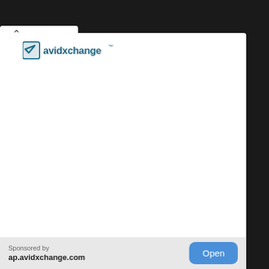[Figure (logo): AvidXchange logo with stylized 'A' icon and 'avidxchange' wordmark with trademark symbol, in dark blue/teal color]
Sponsored by
ap.avidxchange.com
Open